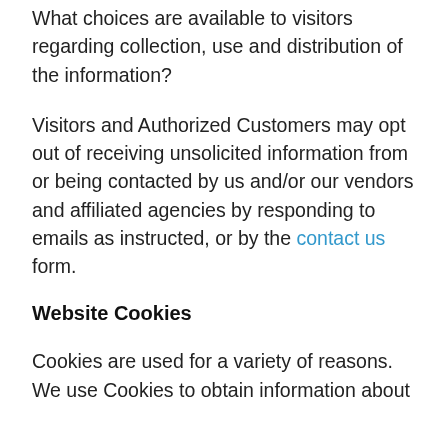What choices are available to visitors regarding collection, use and distribution of the information?
Visitors and Authorized Customers may opt out of receiving unsolicited information from or being contacted by us and/or our vendors and affiliated agencies by responding to emails as instructed, or by the contact us form.
Website Cookies
Cookies are used for a variety of reasons. We use Cookies to obtain information about